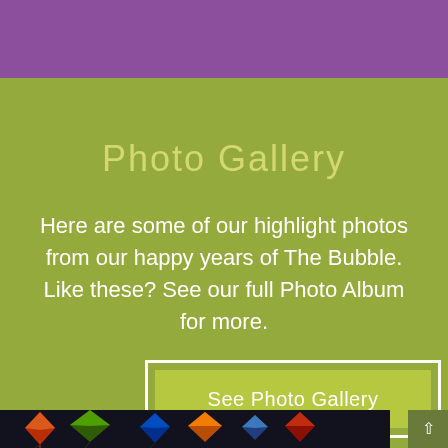Photo Gallery
Here are some of our highlight photos from our happy years of The Bubble. Like these? See our full Photo Album for more.
See Photo Gallery
[Figure (photo): Dark background photo showing colorful kite or decorative shapes in red, green, orange, and blue against a night sky, partially visible at the bottom of the page.]